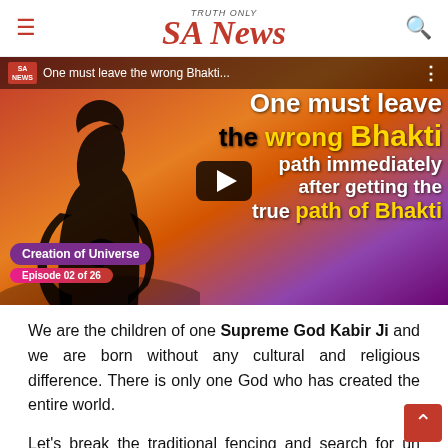TRUTH ONLY | SA News
[Figure (screenshot): Video thumbnail showing text 'One must leave the wrong Bhakti path immediately after getting the true path of Bhakti' with a silhouette of a woman praying, creation of Universe Episode 02 of 26 badge, and SA News logo overlay]
We are the children of one Supreme God Kabir Ji and we are born without any cultural and religious difference. There is only one God who has created the entire world.
Let's break the traditional fencing and search for un... This is the time to reunite with God. We actually belong...